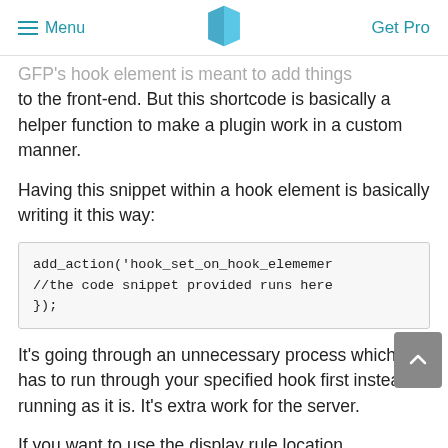Menu | [logo] | Get Pro
GFP's hook element is meant to add things to the front-end. But this shortcode is basically a helper function to make a plugin work in a custom manner.
Having this snippet within a hook element is basically writing it this way:
It's going through an unnecessary process which is it has to run through your specified hook first instead of running as it is. It's extra work for the server.
If you want to use the display rule location